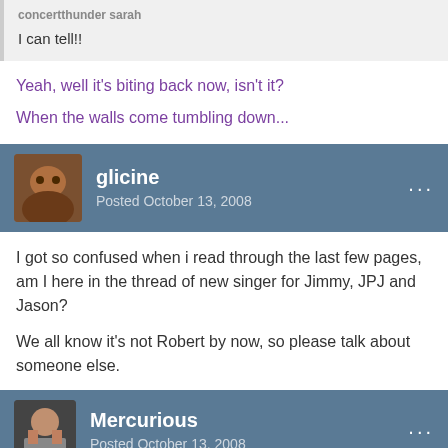concertthunder sarah
I can tell!!
Yeah, well it's biting back now, isn't it?
When the walls come tumbling down...
glicine
Posted October 13, 2008
I got so confused when i read through the last few pages, am I here in the thread of new singer for Jimmy, JPJ and Jason?

We all know it's not Robert by now, so please talk about someone else.
Mercurious
Posted October 13, 2008